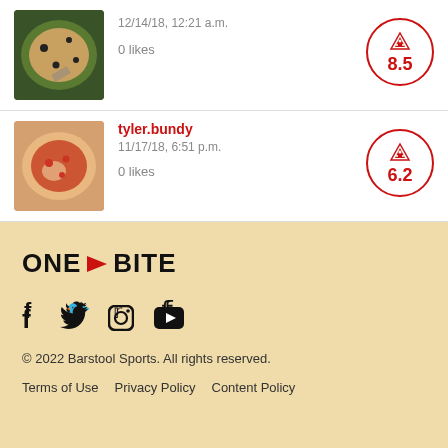12/14/18, 12:21 a.m.
0 likes
tyler.bundy
11/17/18, 6:51 p.m.
0 likes
[Figure (other): Score circle with pizza icon showing 8.5]
[Figure (other): Score circle with pizza icon showing 6.2]
ONE BITE © 2022 Barstool Sports. All rights reserved. Terms of Use  Privacy Policy  Content Policy